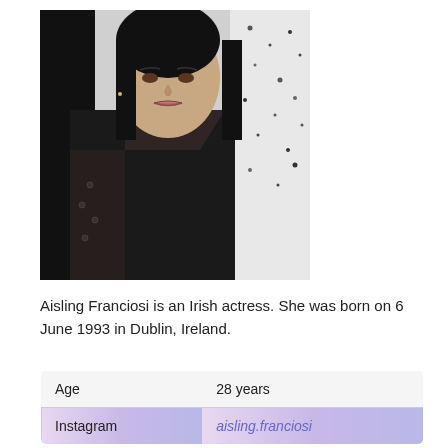[Figure (photo): Photo of Aisling Franciosi, a young woman with long dark hair, wearing a black outfit with sheer sleeves, standing in front of a black and white speckled background]
Aisling Franciosi is an Irish actress. She was born on 6 June 1993 in Dublin, Ireland.
| Age | 28 years |
| Instagram | aisling.franciosi |